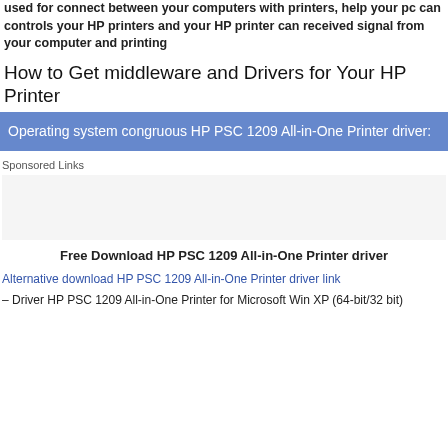used for connect between your computers with printers, help your pc can controls your HP printers and your HP printer can received signal from your computer and printing
How to Get middleware and Drivers for Your HP Printer
Operating system congruous HP PSC 1209 All-in-One Printer driver:
Sponsored Links
Free Download HP PSC 1209 All-in-One Printer driver
Alternative download HP PSC 1209 All-in-One Printer driver link
– Driver HP PSC 1209 All-in-One Printer for Microsoft Win XP (64-bit/32 bit)